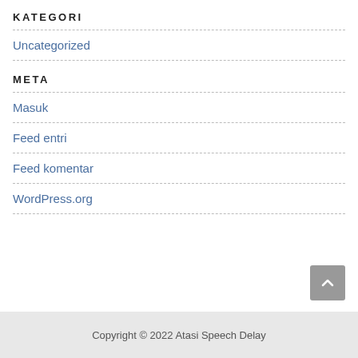KATEGORI
Uncategorized
META
Masuk
Feed entri
Feed komentar
WordPress.org
Copyright © 2022 Atasi Speech Delay